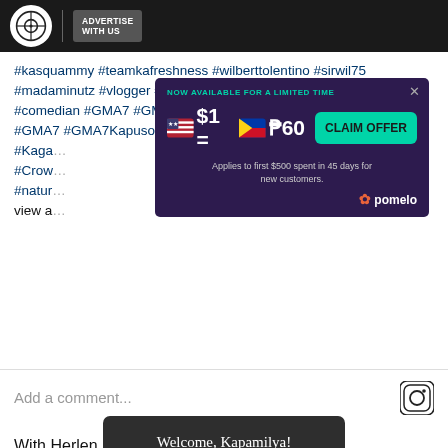ABS-CBN | ADVERTISE WITH US
#kasquammy #teamkafreshness #wilberttolentino #sirwil75 #madaminutz #vlogger #youtuber #youtubers #artist #influencer #comedian #GMA7 #GMA7Kapuso #GMANETWORK #Kaga… #Crow… #natur… view a…
[Figure (screenshot): Pomelo advertisement overlay: NOW AVAILABLE FOR A LIMITED TIME $1 = ₱60 CLAIM OFFER. Applies to first $500 spent in 45 days for new customers. Pomelo logo.]
Add a comment...
[Figure (screenshot): Cookie consent modal: Welcome, Kapamilya! We use cookies to improve your browsing experience. Continuing to use this site means you agree to our use of cookies. Tell me more! I AGREE!]
With Herlen… ning Pilipinas 2022, she h… untry in the Miss Interna… mental, and Miss Grand…
The 22 year-old rose to fame after being one of the hosts